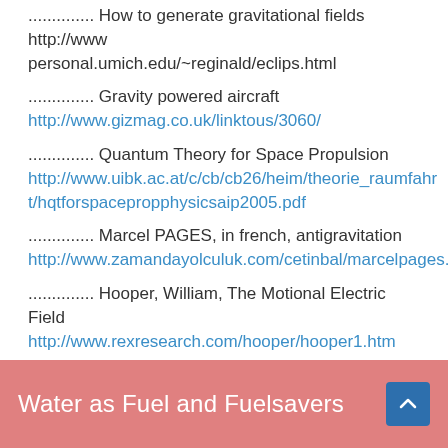.............. How to generate gravitational fields http://www personal.umich.edu/~reginald/eclips.html
.............. Gravity powered aircraft http://www.gizmag.co.uk/linktous/3060/
.............. Quantum Theory for Space Propulsion http://www.uibk.ac.at/c/cb/cb26/heim/theorie_raumfahrt/hqtforspacepropphysicsaip2005.pdf
.............. Marcel PAGES, in french, antigravitation http://www.zamandayolculuk.com/cetinbal/marcelpages.htm
.............. Hooper, William, The Motional Electric Field http://www.rexresearch.com/hooper/hooper1.htm
Water as Fuel and Fuelsavers